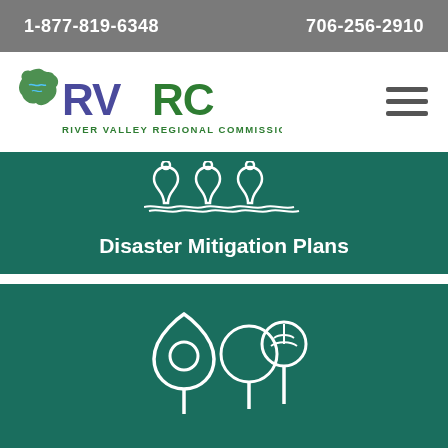1-877-819-6348   706-256-2910
[Figure (logo): RVRC River Valley Regional Commission logo with green map shape and purple/green text]
[Figure (illustration): Hamburger menu icon (three horizontal lines)]
[Figure (illustration): White wave/water icon on dark green background]
Disaster Mitigation Plans
[Figure (illustration): White location pin and tree icons on dark green background]